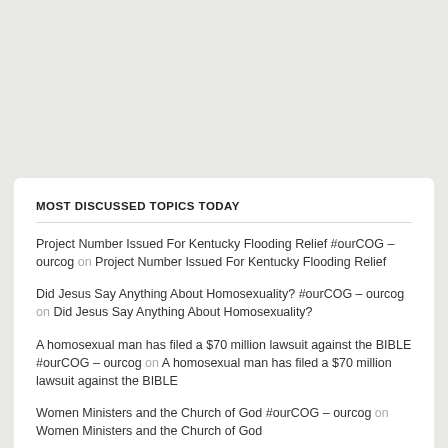MOST DISCUSSED TOPICS TODAY
Project Number Issued For Kentucky Flooding Relief #ourCOG – ourcog on Project Number Issued For Kentucky Flooding Relief
Did Jesus Say Anything About Homosexuality? #ourCOG – ourcog on Did Jesus Say Anything About Homosexuality?
A homosexual man has filed a $70 million lawsuit against the BIBLE #ourCOG – ourcog on A homosexual man has filed a $70 million lawsuit against the BIBLE
Women Ministers and the Church of God #ourCOG – ourcog on Women Ministers and the Church of God